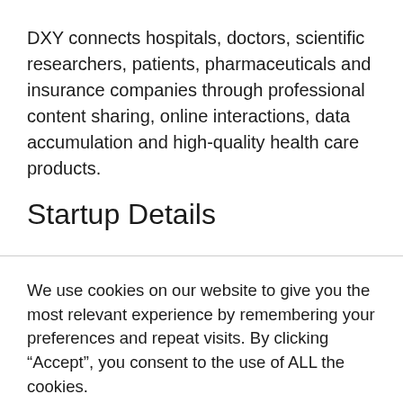DXY connects hospitals, doctors, scientific researchers, patients, pharmaceuticals and insurance companies through professional content sharing, online interactions, data accumulation and high-quality health care products.
Startup Details
We use cookies on our website to give you the most relevant experience by remembering your preferences and repeat visits. By clicking “Accept”, you consent to the use of ALL the cookies.
Do not sell my personal information.
Cookie settings  ACCEPT